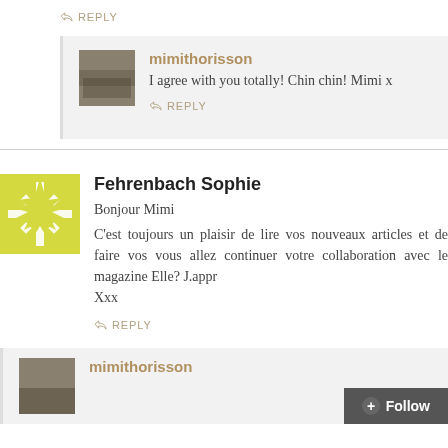REPLY
mimithorisson
I agree with you totally! Chin chin! Mimi x
REPLY
Fehrenbach Sophie
Bonjour Mimi
C'est toujours un plaisir de lire vos nouveaux articles et de faire vos vous allez continuer votre collaboration avec le magazine Elle? J.appr Xxx
REPLY
mimithorisson
Follow